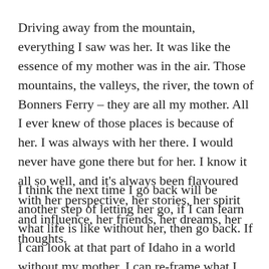Driving away from the mountain, everything I saw was her. It was like the essence of my mother was in the air. Those mountains, the valleys, the river, the town of Bonners Ferry – they are all my mother. All I ever knew of those places is because of her. I was always with her there. I would never have gone there but for her. I know it all so well, and it's always been flavoured with her perspective, her stories, her spirit and influence, her friends, her dreams, her thoughts.
I think the next time I go back will be another step of letting her go, if I can learn what life is like without her, then go back. If I can look at that part of Idaho in a world without my mother, I can re-frame what I see with new definitions. What will the snowy peaks